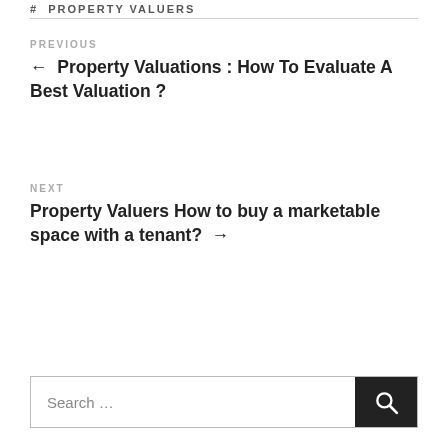# PROPERTY VALUERS
PREVIOUS
← Property Valuations : How To Evaluate A Best Valuation ?
NEXT
Property Valuers How to buy a marketable space with a tenant? →